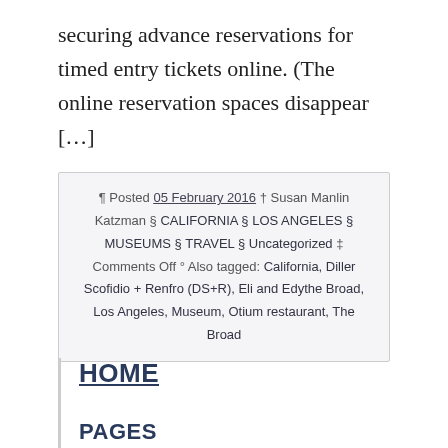securing advance reservations for timed entry tickets online. (The online reservation spaces disappear […]
¶ Posted 05 February 2016 † Susan Manlin Katzman § CALIFORNIA § LOS ANGELES § MUSEUMS § TRAVEL § Uncategorized ‡ Comments Off ° Also tagged: California, Diller Scofidio + Renfro (DS+R), Eli and Edythe Broad, Los Angeles, Museum, Otium restaurant, The Broad
HOME
PAGES
About
Contact